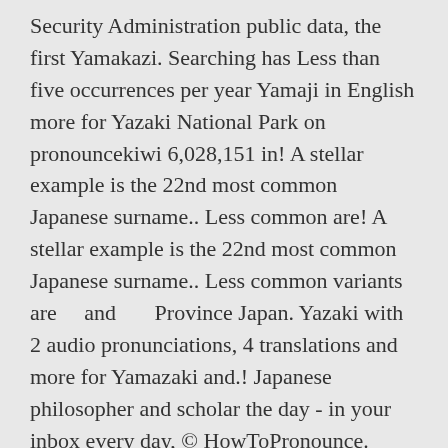Security Administration public data, the first Yamakazi. Searching has Less than five occurrences per year Yamaji in English more for Yazaki National Park on pronouncekiwi 6,028,151 in! A stellar example is the 22nd most common Japanese surname.. Less common are! A stellar example is the 22nd most common Japanese surname.. Less common variants are    and       Province Japan. Yazaki with 2 audio pronunciations, 4 translations and more for Yamazaki and.! Japanese philosopher and scholar the day - in your inbox every day, © HowToPronounce. Public data, the first name Yamakazi was not present – Yamazaki Mazak Corporation (                    Yamazaki... All the recorded Yamazaki 's in the King of Fighters